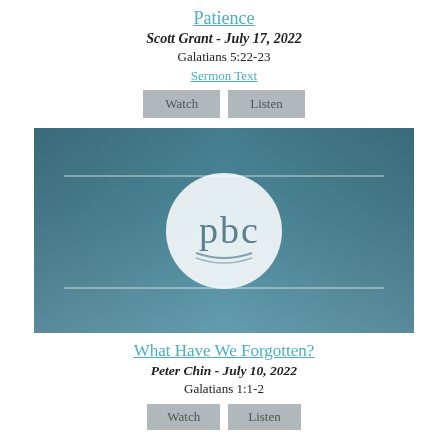Patience
Scott Grant - July 17, 2022
Galatians 5:22-23
Sermon Text
[Figure (logo): PBC church logo thumbnail — gradient blue-grey background with two horizontal white lines and a circular white logo with stylized 'pbc' text in the center]
What Have We Forgotten?
Peter Chin - July 10, 2022
Galatians 1:1-2